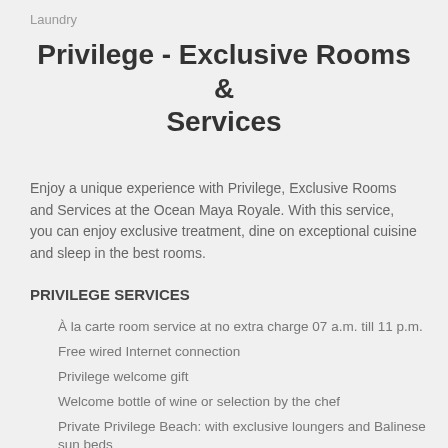Laundry
Privilege - Exclusive Rooms & Services
Enjoy a unique experience with Privilege, Exclusive Rooms and Services at the Ocean Maya Royale. With this service, you can enjoy exclusive treatment, dine on exceptional cuisine and sleep in the best rooms.
PRIVILEGE SERVICES
À la carte room service at no extra charge 07 a.m. till 11 p.m.
Free wired Internet connection
Privilege welcome gift
Welcome bottle of wine or selection by the chef
Private Privilege Beach: with exclusive loungers and Balinese sun beds
Private waiter service and personalised Oasis drinks